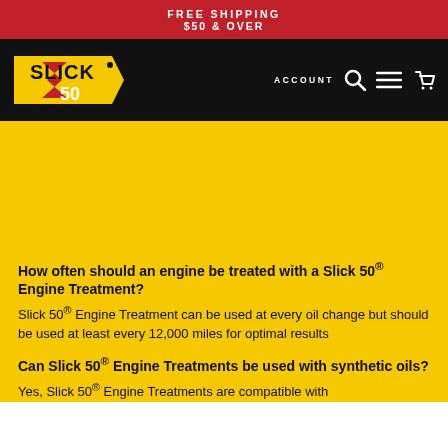FREE SHIPPING
$50 & OVER
[Figure (logo): Slick 50 brand logo on black navigation bar with ACCOUNT, search, menu, and cart icons]
[Figure (photo): Yellow hero image area]
How often should an engine be treated with a Slick 50® Engine Treatment?
Slick 50® Engine Treatment can be used at every oil change but should be used at least every 12,000 miles for optimal results
Can Slick 50® Engine Treatments be used with synthetic oils?
Yes, Slick 50® Engine Treatments are compatible with